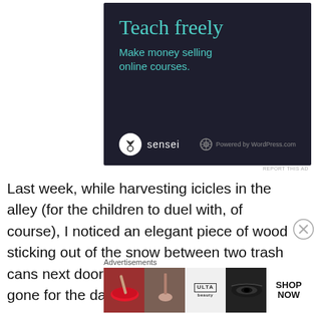[Figure (screenshot): Sensei advertisement banner on dark navy background. Title 'Teach freely' in teal/mint color. Subtitle 'Make money selling online courses.' in teal. Sensei logo (tree icon in circle) and 'Powered by WordPress.com' at bottom.]
REPORT THIS AD
Last week, while harvesting icicles in the alley (for the children to duel with, of course), I noticed an elegant piece of wood sticking out of the snow between two trash cans next door. Since the contractors were gone for the day, I
Advertisements
[Figure (screenshot): Ulta Beauty advertisement showing collage of beauty/makeup images: red lips with brush, eye with brush, ULTA Beauty logo, eye makeup closeup, and SHOP NOW button on white background.]